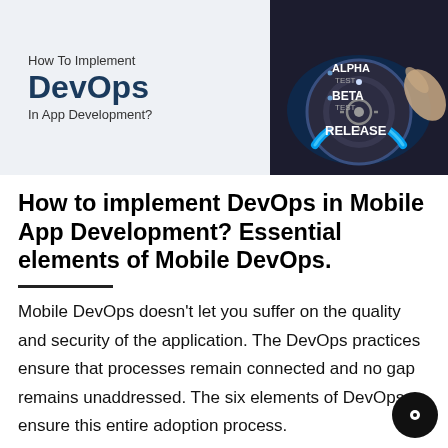[Figure (illustration): Banner image split into two halves: left side has light gray background with text 'How To Implement DevOps In App Development?'; right side shows a dark dial/knob graphic with labels ALPHA TEST, BETA TEST, RELEASE pointing to a glowing blue dial being turned by a hand.]
How to implement DevOps in Mobile App Development? Essential elements of Mobile DevOps.
Mobile DevOps doesn't let you suffer on the quality and security of the application. The DevOps practices ensure that processes remain connected and no gap remains unaddressed. The six elements of DevOps ensure this entire adoption process.